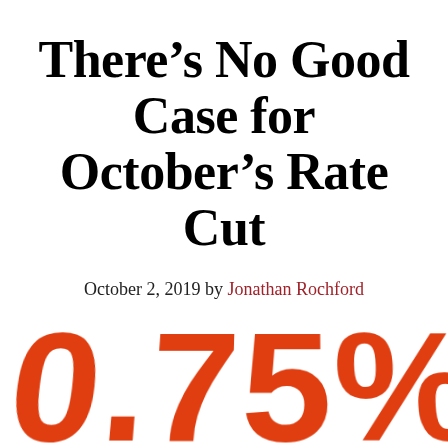There’s No Good Case for October’s Rate Cut
October 2, 2019 by Jonathan Rochford
[Figure (illustration): Large orange 3D-style text displaying '0.75%' filling the lower portion of the image, in bold orange color, partially cropped at bottom]